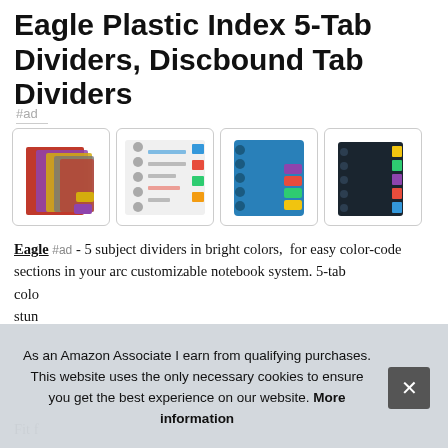Eagle Plastic Index 5-Tab Dividers, Discbound Tab Dividers
#ad
[Figure (photo): Four product photos showing Eagle plastic index 5-tab dividers in various configurations: colored dividers fanned out, open discbound notebook with dividers, blue discbound notebook cover, and dark navy dividers with colored tabs.]
Eagle #ad - 5 subject dividers in bright colors,  for easy color-code sections in your arc customizable notebook system. 5-tab colo stun
Fit f
As an Amazon Associate I earn from qualifying purchases. This website uses the only necessary cookies to ensure you get the best experience on our website. More information